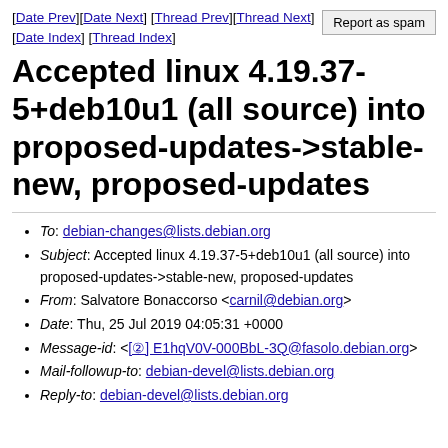[Date Prev][Date Next] [Thread Prev][Thread Next] [Date Index] [Thread Index]
Accepted linux 4.19.37-5+deb10u1 (all source) into proposed-updates->stable-new, proposed-updates
To: debian-changes@lists.debian.org
Subject: Accepted linux 4.19.37-5+deb10u1 (all source) into proposed-updates->stable-new, proposed-updates
From: Salvatore Bonaccorso <carnil@debian.org>
Date: Thu, 25 Jul 2019 04:05:31 +0000
Message-id: <[l] E1hqV0V-000BbL-3Q@fasolo.debian.org>
Mail-followup-to: debian-devel@lists.debian.org
Reply-to: debian-devel@lists.debian.org